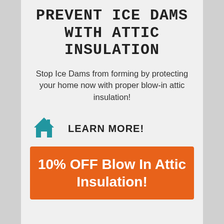PREVENT ICE DAMS WITH ATTIC INSULATION
Stop Ice Dams from forming by protecting your home now with proper blow-in attic insulation!
🏠 LEARN MORE!
10% OFF Blow In Attic Insulation!